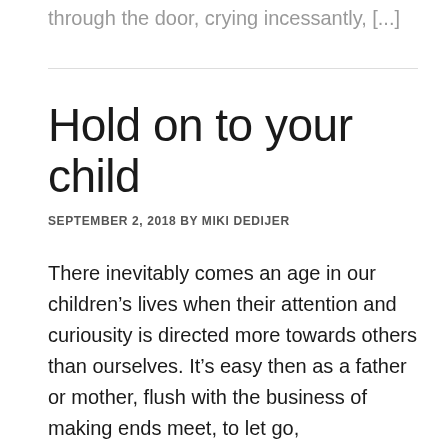through the door, crying incessantly, [...]
Hold on to your child
SEPTEMBER 2, 2018 By MIKI DEDIJER
There inevitably comes an age in our children’s lives when their attention and curiousity is directed more towards others than ourselves. It’s easy then as a father or mother, flush with the business of making ends meet, to let go, understanding their outward gaze as an